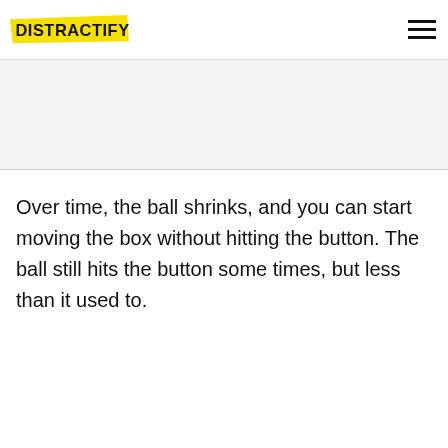DISTRACTIFY
Over time, the ball shrinks, and you can start moving the box without hitting the button. The ball still hits the button some times, but less than it used to.